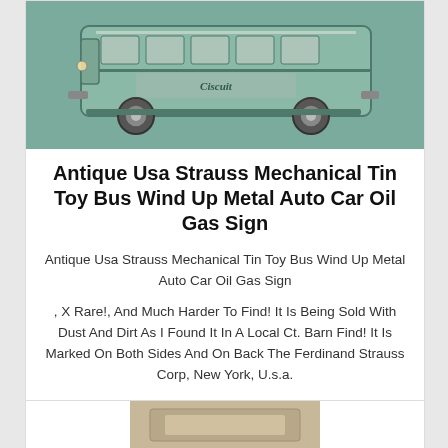[Figure (photo): Antique tin toy bus, greenish patina, side view showing wheels and body markings, dusty and worn condition]
Antique Usa Strauss Mechanical Tin Toy Bus Wind Up Metal Auto Car Oil Gas Sign
Antique Usa Strauss Mechanical Tin Toy Bus Wind Up Metal Auto Car Oil Gas Sign
, X Rare!, And Much Harder To Find! It Is Being Sold With Dust And Dirt As I Found It In A Local Ct. Barn Find! It Is Marked On Both Sides And On Back The Ferdinand Strauss Corp, New York, U.s.a.
$750.00
[Figure (photo): Partial view of another antique item at the bottom of the page]